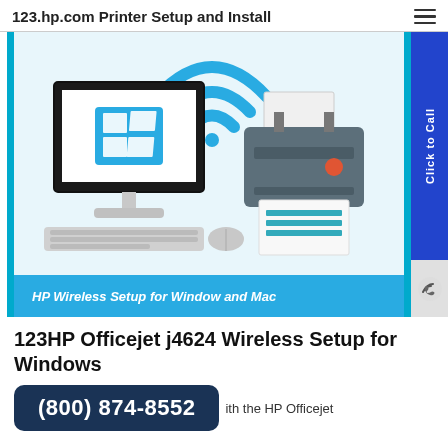123.hp.com Printer Setup and Install
[Figure (illustration): HP Wireless Setup for Window and Mac banner showing a desktop computer with Windows logo, a WiFi symbol, and an HP printer with printed pages. Blue border on sides. Blue bottom bar with italic bold white text 'HP Wireless Setup for Window and Mac'. A 'Click to Call' vertical sidebar in blue on the right, and a phone icon below it.]
123HP Officejet j4624 Wireless Setup for Windows
(800) 874-8552
ith the HP Officejet